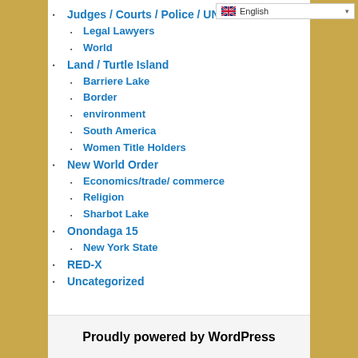Judges / Courts / Police / UN
Legal Lawyers
World
Land / Turtle Island
Barriere Lake
Border
environment
South America
Women Title Holders
New World Order
Economics/trade/ commerce
Religion
Sharbot Lake
Onondaga 15
New York State
RED-X
Uncategorized
Proudly powered by WordPress